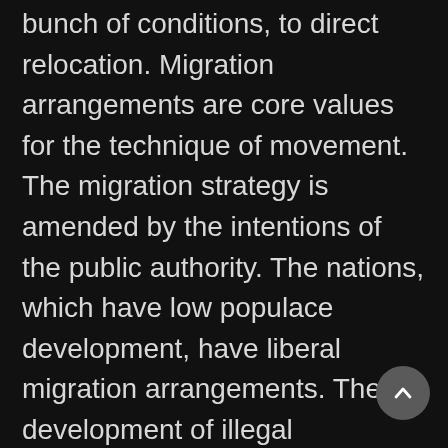bunch of conditions, to direct relocation. Migration arrangements are core values for the technique of movement. The migration strategy is amended by the intentions of the public authority. The nations, which have low populace development, have liberal migration arrangements. The development of illegal intimidation has constrained nations to turn out to be more severe in their movement strategies.

The strategy is a bunch of agreements, which are basically fulfilled by the migrants. Legitimate migration is